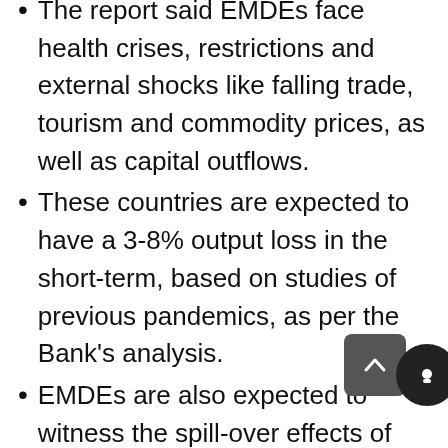The report said EMDEs face health crises, restrictions and external shocks like falling trade, tourism and commodity prices, as well as capital outflows.
These countries are expected to have a 3-8% output loss in the short-term, based on studies of previous pandemics, as per the Bank's analysis.
EMDEs are also expected to witness the spill-over effects of the U.S., the Euro Area and China, which represent almost half of global output, being unlikely to return to pre-pandemic levels of output before the end of 2021.
If these three big economies simultaneously lose 1% in output, EMDEs (excluding China) are expected to lose 1.2%...